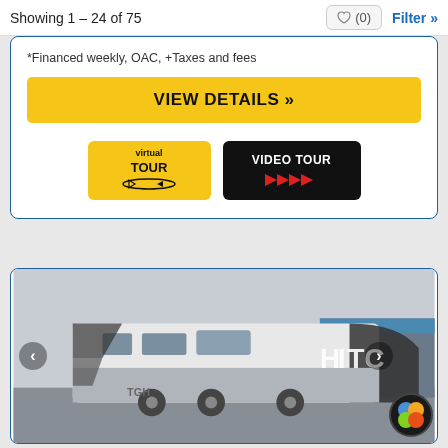Showing 1 – 24 of 75
*Financed weekly, OAC, +Taxes and fees
VIEW DETAILS »
[Figure (screenshot): Virtual Tour button (yellow background) and Video Tour button (black background with red play arrows)]
[Figure (photo): Photo of a Hitchi travel trailer RV parked in a lot, with navigation arrows and color dot icon overlay]